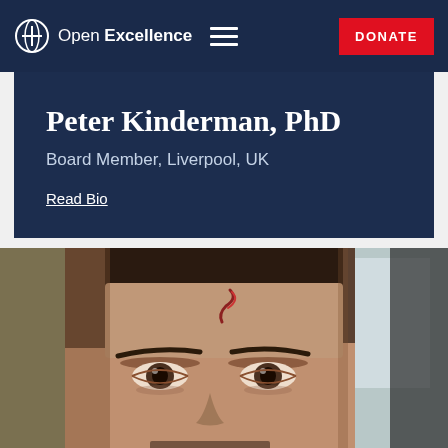Open Excellence — DONATE
Peter Kinderman, PhD
Board Member, Liverpool, UK
Read Bio
[Figure (photo): Close-up photograph of a man's face showing the upper portion including forehead and eyes. The man appears to have short dark hair and a small beard/mustache. There is a visible mark or cut on his forehead. Background includes a window and what appears to be a monitor screen.]